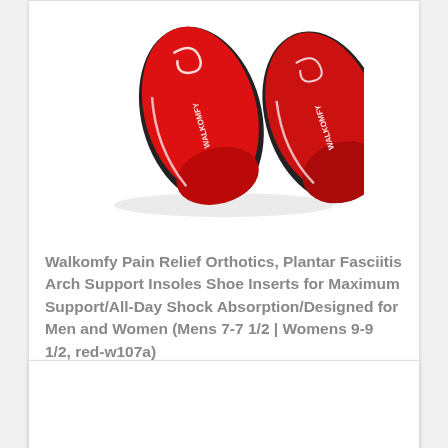[Figure (photo): Product photo of red and black Walkomfy orthotic shoe insoles, two insoles overlapping on a white background]
Walkomfy Pain Relief Orthotics, Plantar Fasciitis Arch Support Insoles Shoe Inserts for Maximum Support/All-Day Shock Absorption/Designed for Men and Women (Mens 7-7 1/2 | Womens 9-9 1/2, red-w107a)
$19.99 Prime
Buy on Amazon